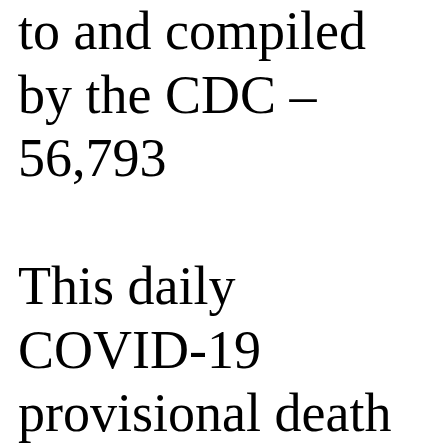to and compiled by the CDC – 56,793 This daily COVID-19 provisional death certificate data reported by NYS